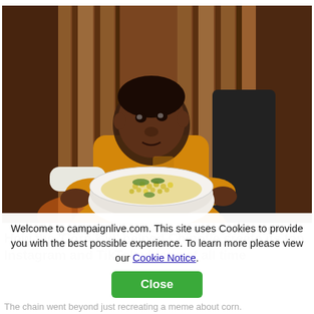[Figure (photo): A young Black boy in a yellow t-shirt sitting in a chair, holding a white oval dish containing corn salad with vegetables. The background shows wooden vertical slats in warm brown tones.]
Welcome to campaignlive.com. This site uses Cookies to provide you with the best possible experience. To learn more please view our Cookie Notice.
How the 'Corn Kid' helped Chipotle create its top Instagram and TikTok videos of all time
The chain went beyond just recreating a meme about corn.